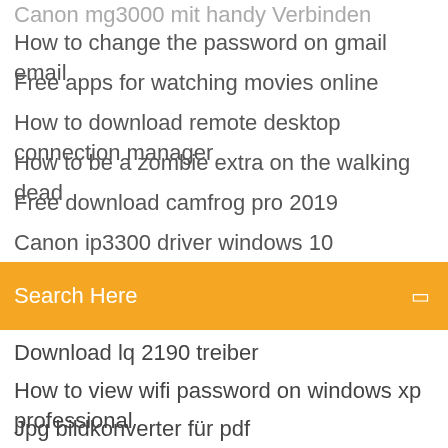Canon mg3000 mit handy verbinden (partial/cut off)
How to change the password on gmail email
Free apps for watching movies online
How to download remote desktop connection manager
How to be a zombie extra on the walking dead
Free download camfrog pro 2019
Canon ip3300 driver windows 10
[Figure (screenshot): Orange search bar with text 'Search Here' and a small square icon on the right]
Download lq 2190 treiber
How to view wifi password on windows xp professional
Jpg bildkonverter für pdf
How to change excel format xlsx to xls
Video to mp3 converter website free
Free download facebook software for pc windows 7
Download-treiber für hp officejet 6310 in einem
Sata ahci ide unterschied
Canon 6200d driver win7 32bit
Windows photo viewer windows 8
... (cut off at bottom)